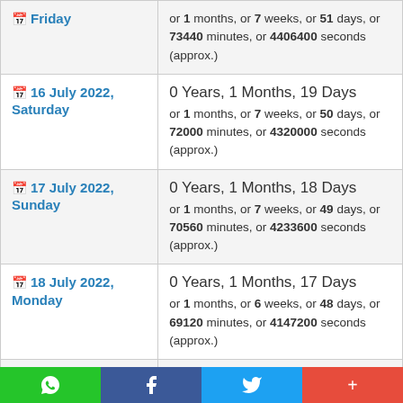| Date | Duration |
| --- | --- |
| Friday | or 1 months, or 7 weeks, or 51 days, or 73440 minutes, or 4406400 seconds (approx.) |
| 16 July 2022, Saturday | 0 Years, 1 Months, 19 Days
or 1 months, or 7 weeks, or 50 days, or 72000 minutes, or 4320000 seconds (approx.) |
| 17 July 2022, Sunday | 0 Years, 1 Months, 18 Days
or 1 months, or 7 weeks, or 49 days, or 70560 minutes, or 4233600 seconds (approx.) |
| 18 July 2022, Monday | 0 Years, 1 Months, 17 Days
or 1 months, or 6 weeks, or 48 days, or 69120 minutes, or 4147200 seconds (approx.) |
| 19 July 2022, Tuesday | 0 Years, 1 Months, 16 Days
or 1 months, or 6 weeks, or 47 days, or 67680 minutes, or 4060800 seconds (approx.) |